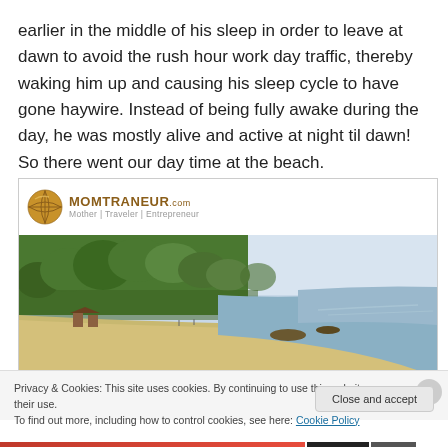earlier in the middle of his sleep in order to leave at dawn to avoid the rush hour work day traffic, thereby waking him up and causing his sleep cycle to have gone haywire. Instead of being fully awake during the day, he was mostly alive and active at night til dawn! So there went our day time at the beach.
[Figure (photo): Beach photograph with lush green trees on the left, sandy beach in the middle, and calm ocean water on the right under a light sky. Above the photo is the MOMTRANEUR.com logo with a globe icon and tagline 'Mother | Traveler | Entrepreneur'.]
Privacy & Cookies: This site uses cookies. By continuing to use this website, you agree to their use.
To find out more, including how to control cookies, see here: Cookie Policy
Close and accept